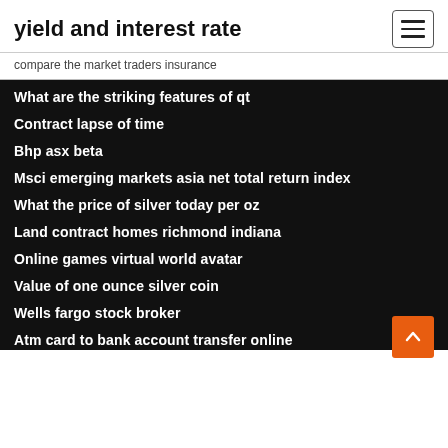yield and interest rate
compare the market traders insurance
What are the striking features of qt
Contract lapse of time
Bhp asx beta
Msci emerging markets asia net total return index
What the price of silver today per oz
Land contract homes richmond indiana
Online games virtual world avatar
Value of one ounce silver coin
Wells fargo stock broker
Atm card to bank account transfer online